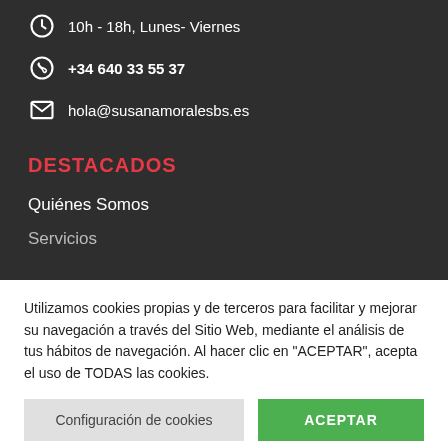10h - 18h, Lunes- Viernes
+34 640 33 55 37
hola@susanamoralesbs.es
DESTACADOS
Quiénes Somos
Servicios
Utilizamos cookies propias y de terceros para facilitar y mejorar su navegación a través del Sitio Web, mediante el análisis de tus hábitos de navegación. Al hacer clic en "ACEPTAR", acepta el uso de TODAS las cookies.
Configuración de cookies
ACEPTAR